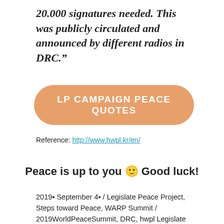20.000 signatures needed. This was publicly circulated and announced by different radios in DRC."
LP CAMPAIGN PEACE QUOTES
Reference: http://www.hwpl.kr/en/
Peace is up to you 🙂 Good luck!
2019  September 4  /  Legislate Peace Project, Steps toward Peace, WARP Summit  /  2019WorldPeaceSummit, DRC, hwpl Legislate Peace, hwpl LP campaign, hwpl man hee lee, hwpl peace legislation, Jean de Dieu Munyembabazi, Legislate Peace, Man Hee Lee biography, man hee lee dpcw, Man Hee Lee Peace Biography, Man Hee Lee Peace Quotes, MasterPeace, WARPsummit2019